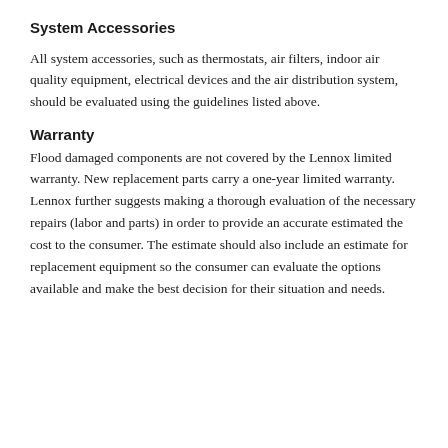System Accessories
All system accessories, such as thermostats, air filters, indoor air quality equipment, electrical devices and the air distribution system, should be evaluated using the guidelines listed above.
Warranty
Flood damaged components are not covered by the Lennox limited warranty. New replacement parts carry a one-year limited warranty. Lennox further suggests making a thorough evaluation of the necessary repairs (labor and parts) in order to provide an accurate estimated the cost to the consumer. The estimate should also include an estimate for replacement equipment so the consumer can evaluate the options available and make the best decision for their situation and needs.